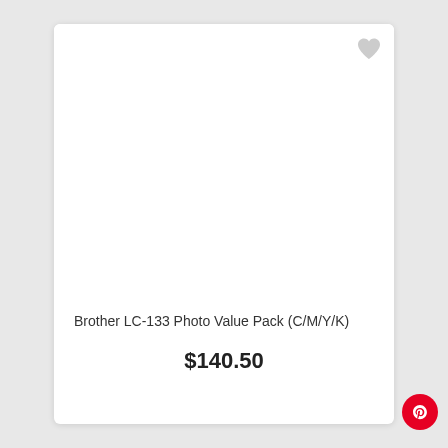[Figure (other): Product card with white image area, heart/favorite icon in top right corner, product name and price below]
Brother LC-133 Photo Value Pack (C/M/Y/K)
$140.50